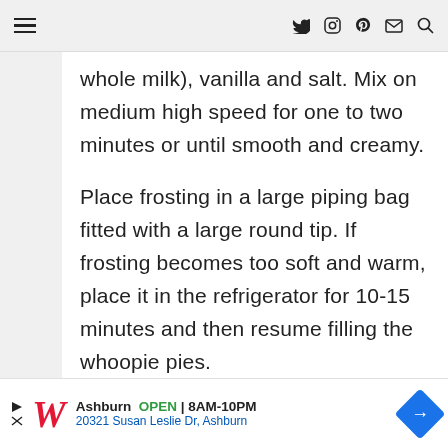≡  [twitter] [instagram] [pinterest] [email] [search]
whole milk), vanilla and salt. Mix on medium high speed for one to two minutes or until smooth and creamy.
Place frosting in a large piping bag fitted with a large round tip. If frosting becomes too soft and warm, place it in the refrigerator for 10-15 minutes and then resume filling the whoopie pies.
Ashburn  OPEN | 8AM-10PM  20321 Susan Leslie Dr, Ashburn